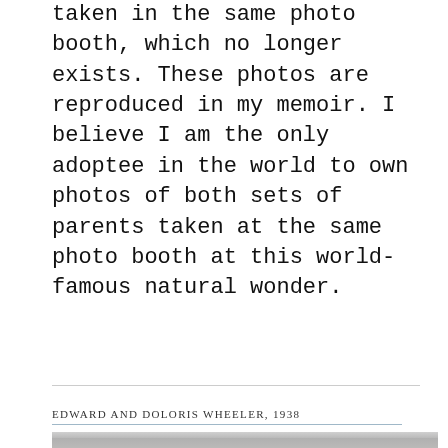taken in the same photo booth, which no longer exists. These photos are reproduced in my memoir. I believe I am the only adoptee in the world to own photos of both sets of parents taken at the same photo booth at this world-famous natural wonder.
EDWARD AND DOLORIS WHEELER, 1938
[Figure (photo): Black and white photograph of Niagara Falls area, 1938, showing waterfall and landscape in grayscale]